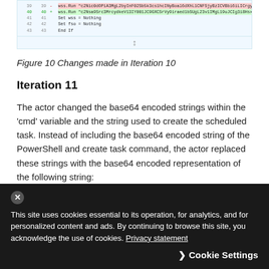[Figure (screenshot): Code diff screenshot showing lines 39-44 of a script with red-highlighted removed line (wss.Run with base64 string), green-highlighted added line (wss.Run with different base64 string), and plain lines: Set wss = Nothing, Set fso = Nothing, End If. A cursor icon appears at the bottom of the code block.]
Figure 10 Changes made in Iteration 10
Iteration 11
The actor changed the base64 encoded strings within the 'cmd' variable and the string used to create the scheduled task. Instead of including the base64 encoded string of the PowerShell and create task command, the actor replaced these strings with the base64 encoded representation of the following string:
This site uses cookies essential to its operation, for analytics, and for personalized content and ads. By continuing to browse this site, you acknowledge the use of cookies. Privacy statement
Cookie Settings